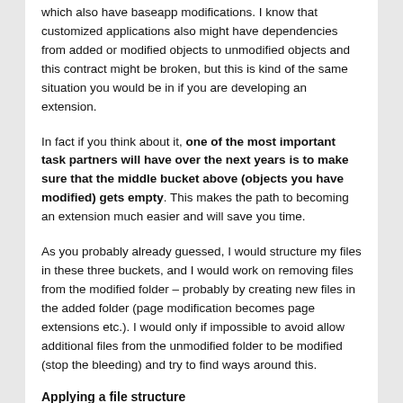which also have baseapp modifications. I know that customized applications also might have dependencies from added or modified objects to unmodified objects and this contract might be broken, but this is kind of the same situation you would be in if you are developing an extension.
In fact if you think about it, one of the most important task partners will have over the next years is to make sure that the middle bucket above (objects you have modified) gets empty. This makes the path to becoming an extension much easier and will save you time.
As you probably already guessed, I would structure my files in these three buckets, and I would work on removing files from the modified folder – probably by creating new files in the added folder (page modification becomes page extensions etc.). I would only if impossible to avoid allow additional files from the unmodified folder to be modified (stop the bleeding) and try to find ways around this.
Applying a file structure